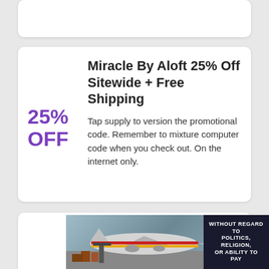[Figure (other): Partial white card at top of page, content not visible]
Miracle By Aloft 25% Off Sitewide + Free Shipping
25% OFF
Tap supply to version the promotional code. Remember to mixture computer code when you check out. On the internet only.
Miracle By Aloft 20% Off During 4th of July Sale + Free Shipping
20%
[Figure (photo): Advertisement banner showing cargo airplane being loaded, with text 'WITHOUT REGARD TO POLITICS, RELIGION, OR ABILITY TO PAY']